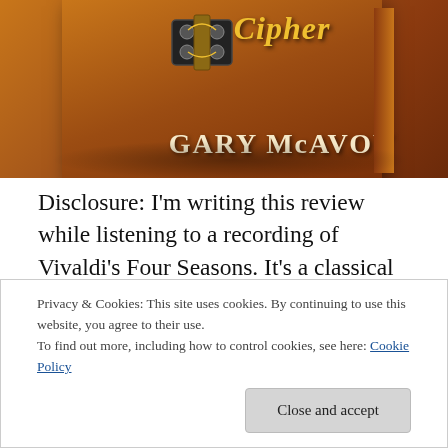[Figure (illustration): Book cover showing a guitar tuner/headstock on a brown/amber background with the author name GARY McAVOY in large serif letters and a cursive title above]
Disclosure: I'm writing this review while listening to a recording of Vivaldi's Four Seasons. It's a classical piece of music I'm sure most of us are familiar with, with all four violin concertos taking up less than 45 minutes (by which time I should be editing this review). Another disclosure:
Privacy & Cookies: This site uses cookies. By continuing to use this website, you agree to their use.
To find out more, including how to control cookies, see here: Cookie Policy

Close and accept